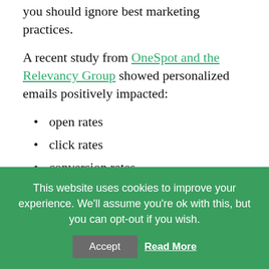you should ignore best marketing practices.
A recent study from OneSpot and the Relevancy Group showed personalized emails positively impacted:
open rates
click rates
conversion rates
average order amount
Pairing that strategy with your drip campaign is
This website uses cookies to improve your experience. We'll assume you're ok with this, but you can opt-out if you wish. Accept Read More